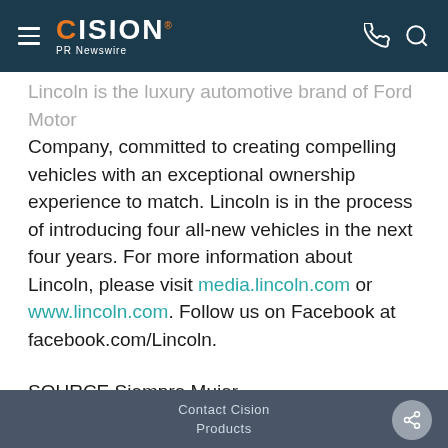CISION PR Newswire
Lincoln is the luxury automotive brand of Ford Motor Company, committed to creating compelling vehicles with an exceptional ownership experience to match. Lincoln is in the process of introducing four all-new vehicles in the next four years. For more information about Lincoln, please visit media.lincoln.com or www.lincoln.com. Follow us on Facebook at facebook.com/Lincoln.
SOURCE Siempre Mujer
Contact Cision
Products